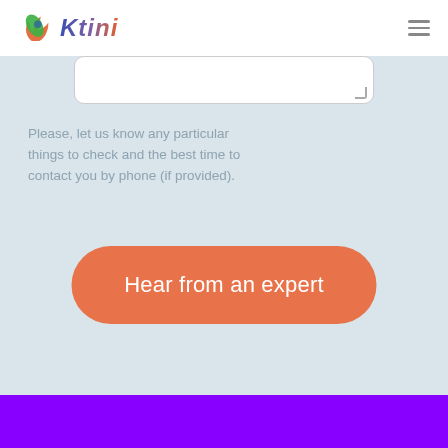Ktini
[Figure (screenshot): Partially visible white text input textarea with resize handle at bottom right, on a light blue-gray background]
Please, let us know any particular things to check and the best time to contact you by phone (if provided).
[Figure (illustration): Orange rounded rectangle button labeled 'Hear from an expert']